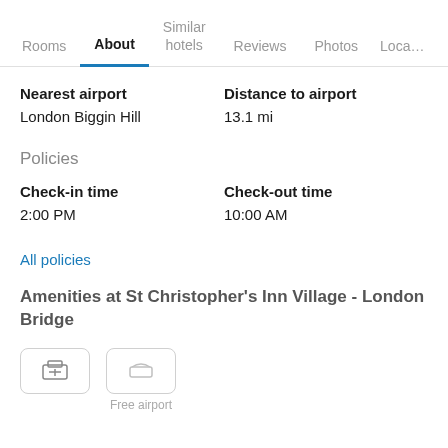Rooms | About | Similar hotels | Reviews | Photos | Loca…
| Nearest airport | Distance to airport |
| --- | --- |
| London Biggin Hill | 13.1 mi |
Policies
| Check-in time | Check-out time |
| --- | --- |
| 2:00 PM | 10:00 AM |
All policies
Amenities at St Christopher's Inn Village - London Bridge
[Figure (other): Two amenity icon boxes at the bottom, one showing an icon and one labeled Free airport]